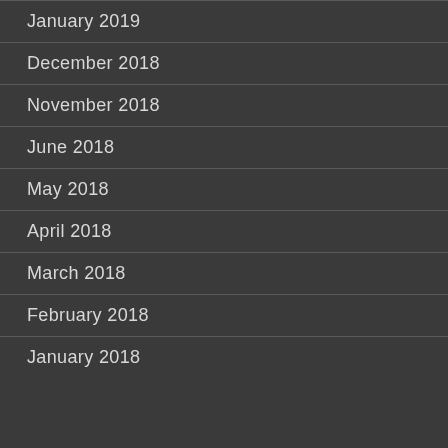January 2019
December 2018
November 2018
June 2018
May 2018
April 2018
March 2018
February 2018
January 2018